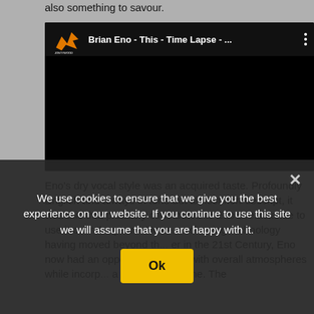also something to savour.
[Figure (screenshot): YouTube-style embedded video player with black background. Top bar shows a channel logo (orange bird, JONTYWOOD), video title 'Brian Eno - This - Time Lapse - ...' in white text, and a three-dot menu icon. The main video area is solid black.]
Eno's dry vocal style was an acquired taste. Profoundly English and always in tune but almost non-descript, it was this that probably contributed to Eno's reluctance to use it over the years. Howe... colouring technology having moved beyond th... er in the 21st Century, Eno now had an opportu... ay more with overall atmospheres while incorp... a larynxed hookline. The
We use cookies to ensure that we give you the best experience on our website. If you continue to use this site we will assume that you are happy with it.